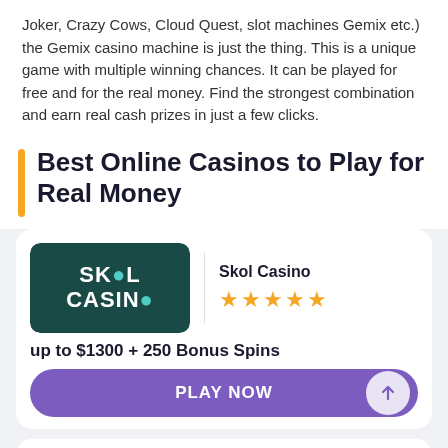Joker, Crazy Cows, Cloud Quest, slot machines Gemix etc.) the Gemix casino machine is just the thing. This is a unique game with multiple winning chances. It can be played for free and for the real money. Find the strongest combination and earn real cash prizes in just a few clicks.
Best Online Casinos to Play for Real Money
[Figure (logo): Skol Casino logo - dark teal background with white bold text reading SKOL CASINO]
Skol Casino
★★★★½ (4.5 stars)
up to $1300 + 250 Bonus Spins
PLAY NOW
[Figure (logo): Casino Cruise logo with golden seahorse decorations and bold text reading CASINO CRUISE]
Casino Cruise
★★★★½ (4.5 stars)